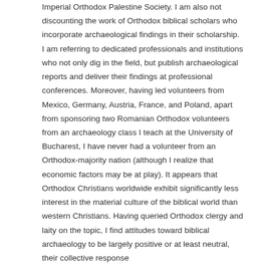Imperial Orthodox Palestine Society. I am also not discounting the work of Orthodox biblical scholars who incorporate archaeological findings in their scholarship. I am referring to dedicated professionals and institutions who not only dig in the field, but publish archaeological reports and deliver their findings at professional conferences. Moreover, having led volunteers from Mexico, Germany, Austria, France, and Poland, apart from sponsoring two Romanian Orthodox volunteers from an archaeology class I teach at the University of Bucharest, I have never had a volunteer from an Orthodox-majority nation (although I realize that economic factors may be at play). It appears that Orthodox Christians worldwide exhibit significantly less interest in the material culture of the biblical world than western Christians. Having queried Orthodox clergy and laity on the topic, I find attitudes toward biblical archaeology to be largely positive or at least neutral, their collective response